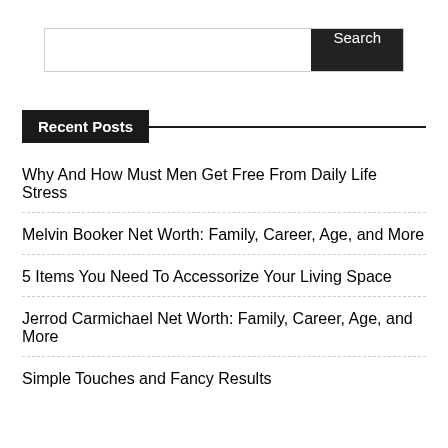Search
Recent Posts
Why And How Must Men Get Free From Daily Life Stress
Melvin Booker Net Worth: Family, Career, Age, and More
5 Items You Need To Accessorize Your Living Space
Jerrod Carmichael Net Worth: Family, Career, Age, and More
Simple Touches and Fancy Results